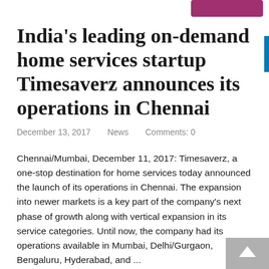India's leading on-demand home services startup Timesaverz announces its operations in Chennai
December 13, 2017    News    Comments: 0
Chennai/Mumbai, December 11, 2017: Timesaverz, a one-stop destination for home services today announced the launch of its operations in Chennai. The expansion into newer markets is a key part of the company's next phase of growth along with vertical expansion in its service categories. Until now, the company had its operations available in Mumbai, Delhi/Gurgaon, Bengaluru, Hyderabad, and ...